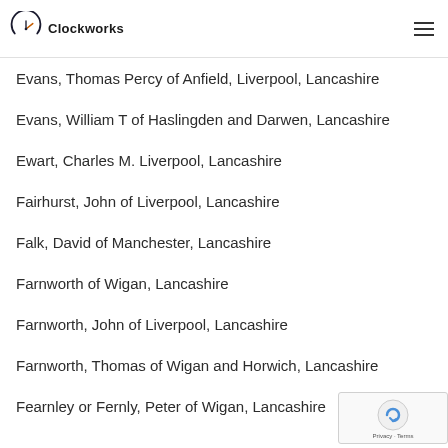Clockworks
Evans, Thomas Percy of Anfield, Liverpool, Lancashire
Evans, William T of Haslingden and Darwen, Lancashire
Ewart, Charles M. Liverpool, Lancashire
Fairhurst, John of Liverpool, Lancashire
Falk, David of Manchester, Lancashire
Farnworth of Wigan, Lancashire
Farnworth, John of Liverpool, Lancashire
Farnworth, Thomas of Wigan and Horwich, Lancashire
Fearnley or Fernly, Peter of Wigan, Lancashire